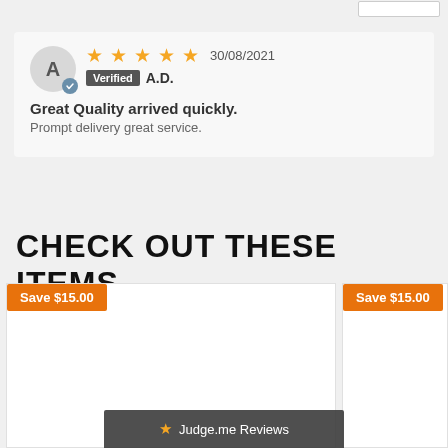A — Verified A.D. — 30/08/2021 — 5 stars
Great Quality arrived quickly.
Prompt delivery great service.
CHECK OUT THESE ITEMS
[Figure (other): Product card with Save $15.00 badge]
[Figure (other): Product card with Save $15.00 badge]
★ Judge.me Reviews